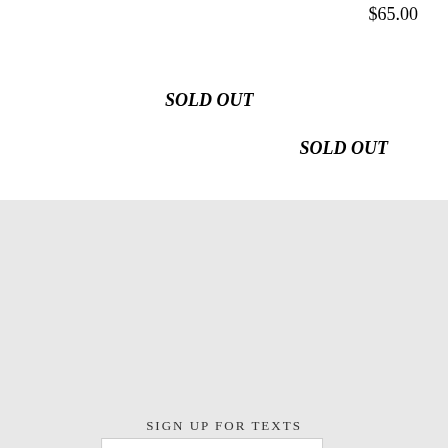$65.00
SOLD OUT
SOLD OUT
SIGN UP FOR TEXTS
(XXX) XXX-XXXXX
Terms and Conditions
I agree to receive promotional messages sent via an autodialer, and this agreement isn't a condition of any purchase. I also agree to the Terms of Service and Privacy Policy 4 Msgs/Month. Msg & Data rates may apply.
SIGN UP FOR THE NEWSLETTER
Enter email